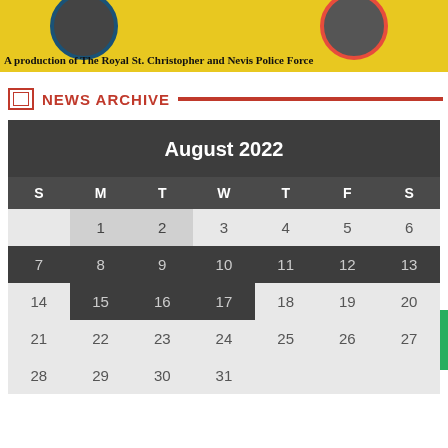[Figure (photo): Banner with yellow background showing two circular portrait photos and text: 'A production of The Royal St. Christopher and Nevis Police Force']
NEWS ARCHIVE
| S | M | T | W | T | F | S |
| --- | --- | --- | --- | --- | --- | --- |
|  | 1 | 2 | 3 | 4 | 5 | 6 |
| 7 | 8 | 9 | 10 | 11 | 12 | 13 |
| 14 | 15 | 16 | 17 | 18 | 19 | 20 |
| 21 | 22 | 23 | 24 | 25 | 26 | 27 |
| 28 | 29 | 30 | 31 |  |  |  |